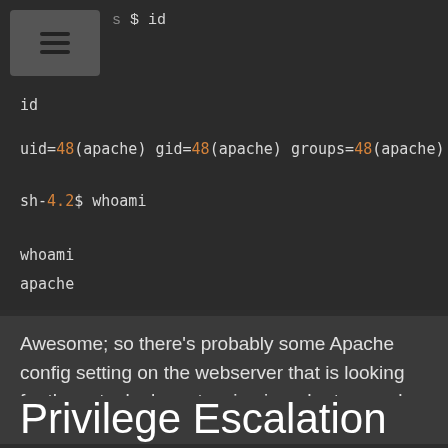[Figure (screenshot): Terminal/command-line screenshot showing shell commands: '$ id', output 'uid=48(apache) gid=48(apache) groups=48(apache)', then 'sh-4.2$ whoami', output 'whoami', then 'apache'. Orange highlighted numbers 48 and 4.2.]
Awesome; so there’s probably some Apache config setting on the webserver that is looking for the actual .php extension in order to run php code.
Privilege Escalation